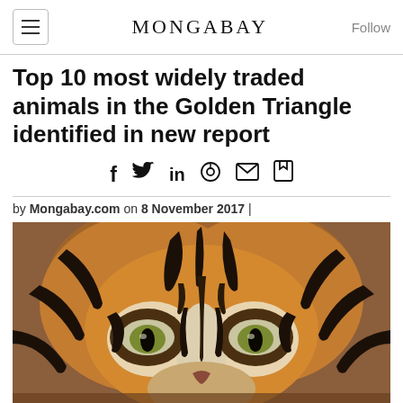MONGABAY
Top 10 most widely traded animals in the Golden Triangle identified in new report
f  in  (social share icons)
by Mongabay.com on 8 November 2017 |
[Figure (photo): Close-up photograph of a tiger's face showing orange and black stripes, white markings around the eyes, and a direct forward gaze.]